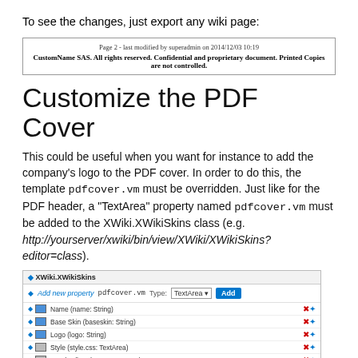To see the changes, just export any wiki page:
[Figure (screenshot): Footer box showing: 'Page 2 - last modified by superadmin on 2014/12/03 10:19' and 'CustomName SAS. All rights reserved. Confidential and proprietary document. Printed Copies are not controlled.']
Customize the PDF Cover
This could be useful when you want for instance to add the company's logo to the PDF cover. In order to do this, the template pdfcover.vm must be overridden. Just like for the PDF header, a "TextArea" property named pdfcover.vm must be added to the XWiki.XWikiSkins class (e.g. http://yourserver/xwiki/bin/view/XWiki/XWikiSkins?editor=class).
[Figure (screenshot): Screenshot of XWiki.XWikiSkins class editor showing Add new property form with pdfcover.vm field and TextArea type, and a list of properties: Name, Base Skin, Logo, Style, Header, Footer, View Header, View, Edit, and more.]